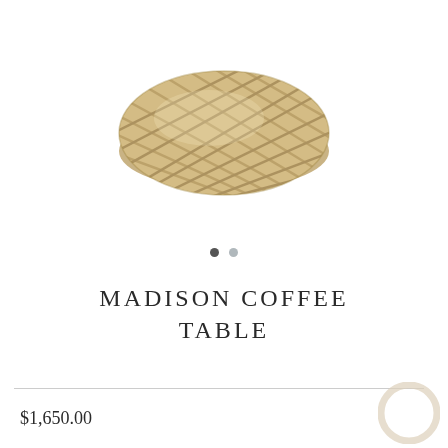[Figure (photo): A round wicker/jute woven coffee table or pouf, viewed from a slightly elevated angle. The object has a natural tan/beige color with a distinctive basket-weave pattern. It sits on a white background.]
MADISON COFFEE TABLE
$1,650.00